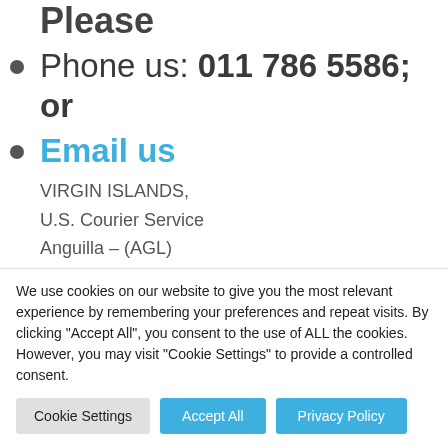Phone us: 011 786 5586; or
Email us
VIRGIN ISLANDS,
U.S. Courier Service
Anguilla – (AGL)
Coord:1742N
We use cookies on our website to give you the most relevant experience by remembering your preferences and repeat visits. By clicking "Accept All", you consent to the use of ALL the cookies. However, you may visit "Cookie Settings" to provide a controlled consent.